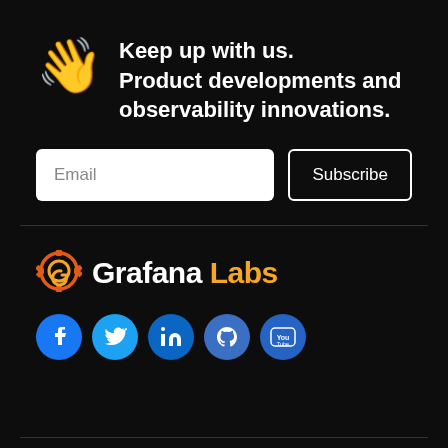Keep up with us. Product developments and observability innovations.
Email
Subscribe
[Figure (logo): Grafana Labs logo with gear/spiral icon in orange and company name in white and orange]
[Figure (infographic): Row of social media icons: Facebook, Twitter, LinkedIn, GitHub, YouTube — all in blue circles]